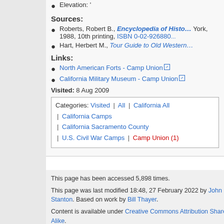Elevation: '
Sources:
Roberts, Robert B., Encyclopedia of Histo... York, 1988, 10th printing, ISBN 0-02-926880...
Hart, Herbert M., Tour Guide to Old Western...
Links:
North American Forts - Camp Union
California Military Museum - Camp Union
Visited: 8 Aug 2009
| Categories |
| --- |
| Visited | All | California All | California Camps | California Sacramento County | U.S. Civil War Camps | Camp Union (1) |
This page has been accessed 5,898 times.
This page was last modified 18:48, 27 February 2022 by John Stanton. Based on work by Bill Thayer.
Content is available under Creative Commons Attribution Share Alike.